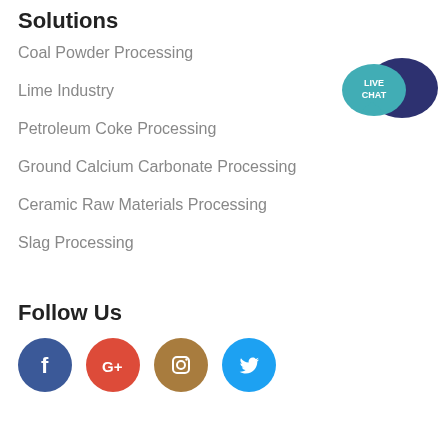Solutions
Coal Powder Processing
Lime Industry
Petroleum Coke Processing
Ground Calcium Carbonate Processing
Ceramic Raw Materials Processing
Slag Processing
[Figure (illustration): Live chat speech bubble icon with teal and dark navy bubbles and 'LIVE CHAT' text]
Follow Us
[Figure (illustration): Four social media icons: Facebook (blue), Google+ (red), Instagram (tan/brown), Twitter (light blue)]